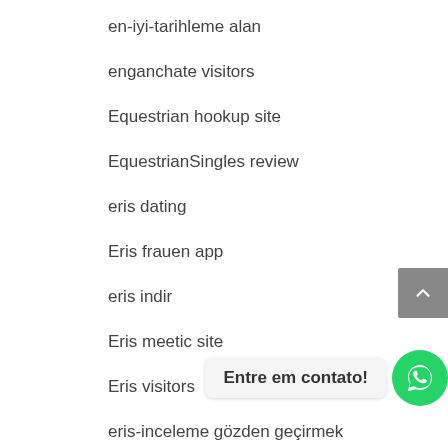en-iyi-tarihleme alan
enganchate visitors
Equestrian hookup site
EquestrianSingles review
eris dating
Eris frauen app
eris indir
Eris meetic site
Eris visitors
eris-inceleme gözden geçirmek
erisdating es reviews
erisdating review
erisdating-inceleme review
Entre em contato!